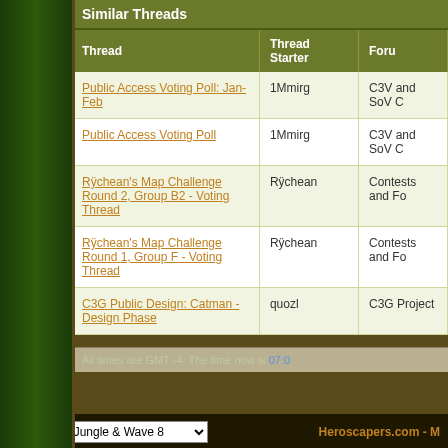Similar Threads
| Thread | Thread Starter | Foru |
| --- | --- | --- |
| Public Access Voting Poll: Jan-Feb | 1Mmirg | C3V and SoV C |
| Public Access Voting Poll | 1Mmirg | C3V and SoV C |
| Rÿchean's Map Challenge Round 2, Group B2 - Voting Thread | Rÿchean | Contests and Fo |
| Rÿchean's Map Challenge Round 1, Group F - Voting Thread | Rÿchean | Contests and Fo |
| C3G Public Design: Catman - Design Phase | quozl | C3G Project |
All times are GMT -4. The time now is 07:0
The Materials and Services on this Site are protected by copyright and/or other intellec the Materials or Services of this Site violate such laws. Except as expressly provided b express or implied right to you under any patents, copyrights, trademarks, or trade s and Services displayed on or provided by this site. No portion of the information or do form or by any means without the prior written permission of the Site Adminsit
Copyright © 2008, Heroscapers.com
---- Ticalla Jungle & Wave 8   Heroscapers.com - M